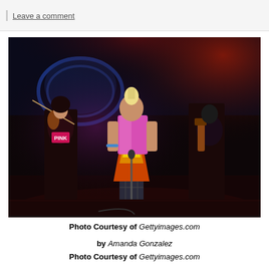Leave a comment
[Figure (photo): Concert performance photo showing a singer in colorful outfit with pink metallic jacket and patterned pants, center stage, with band members including violinist and bassist in background, red lighting, dark stage setting. Photo from Gettyimages.com.]
Photo Courtesy of Gettyimages.com
by Amanda Gonzalez
Photo Courtesy of Gettyimages.com